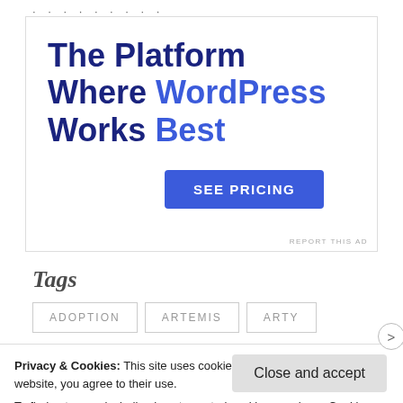[Figure (other): Advertisement banner: 'The Platform Where WordPress Works Best' with a 'SEE PRICING' button]
Tags
ADOPTION
ARTEMIS
ARTY
Privacy & Cookies: This site uses cookies. By continuing to use this website, you agree to their use.
To find out more, including how to control cookies, see here: Cookie Policy
Close and accept